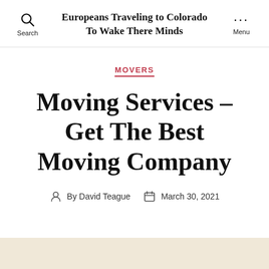Europeans Traveling to Colorado To Wake There Minds
MOVERS
Moving Services – Get The Best Moving Company
By David Teague   March 30, 2021